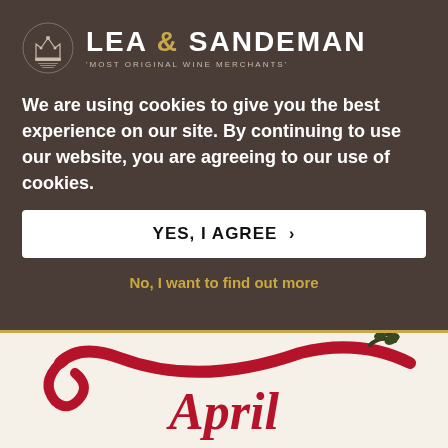[Figure (logo): Lea & Sandeman wine merchants logo with crown emblem and text 'LEA & SANDEMAN - MOST ORIGINAL WINE MERCHANTS']
We are using cookies to give you the best experience on our site. By continuing to use our website, you are agreeing to our use of cookies.
YES, I AGREE >
No, I want to find out more
[Figure (illustration): Decorative red swash/ribbon design with leaf motif and the word 'April' in italic red serif font on a cream background]